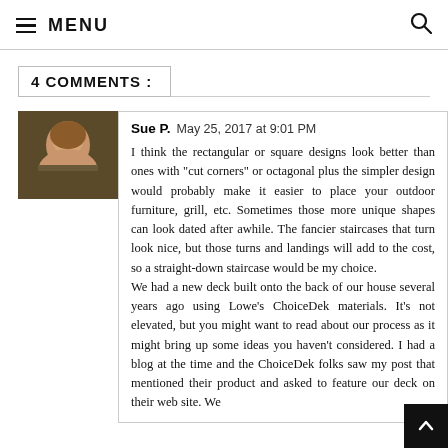≡ MENU
4 COMMENTS :
Sue P.  May 25, 2017 at 9:01 PM

I think the rectangular or square designs look better than ones with "cut corners" or octagonal plus the simpler design would probably make it easier to place your outdoor furniture, grill, etc. Sometimes those more unique shapes can look dated after awhile. The fancier staircases that turn look nice, but those turns and landings will add to the cost, so a straight-down staircase would be my choice.
We had a new deck built onto the back of our house several years ago using Lowe's ChoiceDek materials. It's not elevated, but you might want to read about our process as it might bring up some ideas you haven't considered. I had a blog at the time and the ChoiceDek folks saw my post that mentioned their product and asked to feature our deck on their web site. We